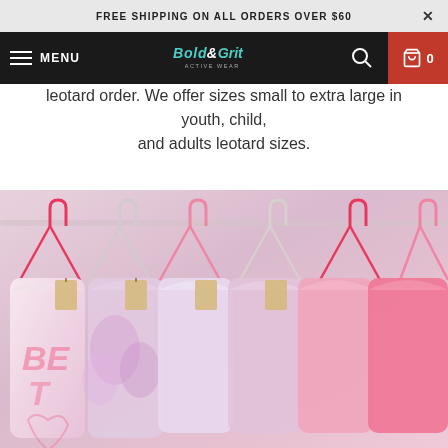FREE SHIPPING ON ALL ORDERS OVER $60
MENU | Bold & Grit Active Wear | Search | Cart 0
leotard order. We offer sizes small to extra large in youth, child, and adults leotard sizes.
[Figure (photo): Photo of multiple leotards hanging on pink and white hangers on a rack, showing pastel pink and purple leotards including one with 'BE' text visible]